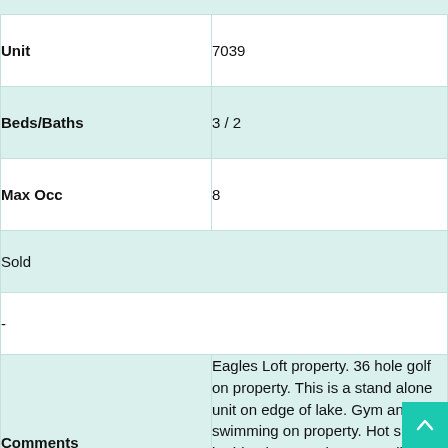| Field | Value |
| --- | --- |
| Unit | 7039 |
| Beds/Baths | 3 / 2 |
| Max Occ | 8 |
| Sold |  |
| - |  |
| Comments | Eagles Loft property. 36 hole golf on property. This is a stand alone unit on edge of lake. Gym and swimming on property. Hot springs bathing in town about 1.5 miles away. ... |